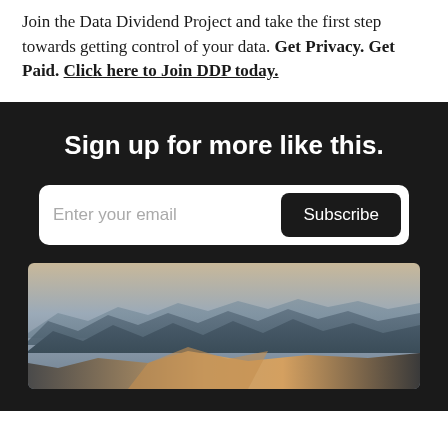Join the Data Dividend Project and take the first step towards getting control of your data. Get Privacy. Get Paid. Click here to Join DDP today.
Sign up for more like this.
[Figure (screenshot): Email subscription form with 'Enter your email' placeholder text and a dark 'Subscribe' button on a white rounded rectangle background, set against a dark background]
[Figure (photo): A landscape photo of layered mountain ridges in blue-grey hues with a sandy/orange foreground dune, resembling a macOS Mojave wallpaper]